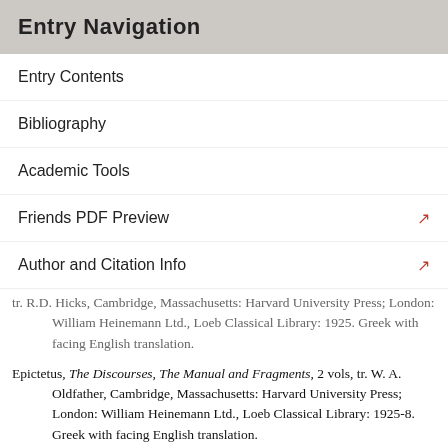Entry Navigation
Entry Contents
Bibliography
Academic Tools
Friends PDF Preview
Author and Citation Info
tr. R.D. Hicks, Cambridge, Massachusetts: Harvard University Press; London: William Heinemann Ltd., Loeb Classical Library: 1925. Greek with facing English translation.
Epictetus, The Discourses, The Manual and Fragments, 2 vols, tr. W. A. Oldfather, Cambridge, Massachusetts: Harvard University Press; London: William Heinemann Ltd., Loeb Classical Library: 1925-8. Greek with facing English translation.
Plutarch, Moralia, 17 vols, Stoic Self-contradictions (in vol. 13.2, tr. H. Cherniss), Cambridge,